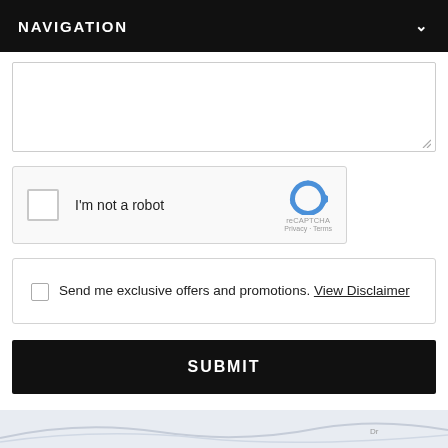NAVIGATION
[Figure (screenshot): Empty textarea input field with resize handle at bottom right]
[Figure (screenshot): reCAPTCHA widget: checkbox with label I'm not a robot and Google reCAPTCHA logo with Privacy and Terms links]
Send me exclusive offers and promotions. View Disclaimer
SUBMIT
[Figure (map): Partial map background strip at bottom of page]